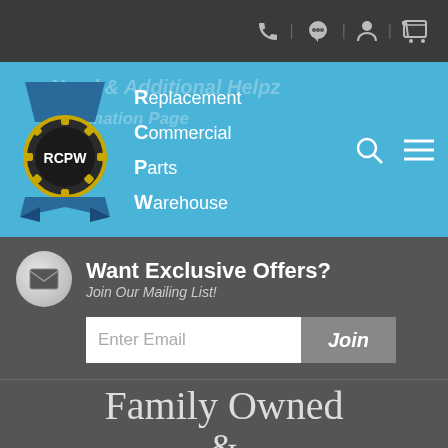RCPW - Replacement Commercial Parts Warehouse
[Figure (logo): RCPW logo - circular badge with gear, tractor, and ribbon]
Replacement Commercial Parts Warehouse
Want Exclusive Offers? Join Our Mailing List!
Enter Email  Join
Family Owned & Operated Since 1980
Customer Service
Back Orders